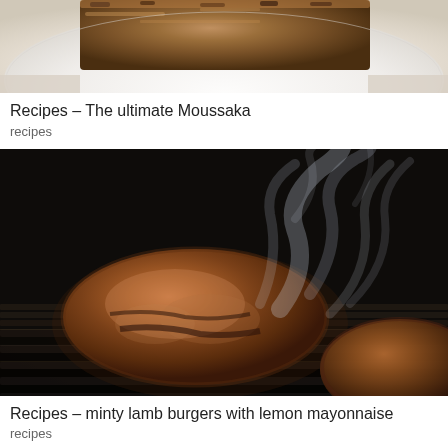[Figure (photo): Moussaka dish on a white decorative plate, viewed from above, showing layered food with dark topping]
Recipes – The ultimate Moussaka
recipes
[Figure (photo): Two meat burger patties grilling on a ridged cast iron grill pan with smoke rising dramatically in the background]
Recipes – minty lamb burgers with lemon mayonnaise
recipes